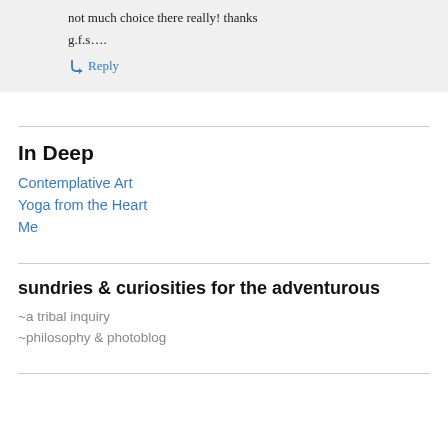not much choice there really! thanks
g.f.s….
↳ Reply
In Deep
Contemplative Art
Yoga from the Heart
Me
sundries & curiosities for the adventurous
~a tribal inquiry
~philosophy & photoblog